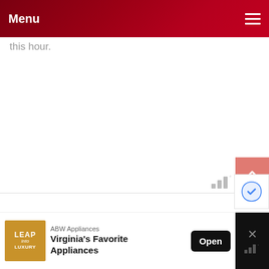Menu
this hour.
[Figure (other): Weather signal bars icon with degree symbol, gray color, bottom right area]
[Figure (other): Scroll to top button, salmon/pink colored square with upward chevron arrow]
For more information and all
[Figure (other): Advertisement banner: LEAP into Luxury logo, ABW Appliances - Virginia's Favorite Appliances, Open button, close X button with weather icon]